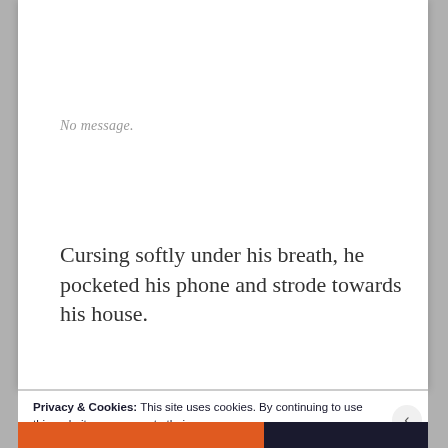No message.
Cursing softly under his breath, he pocketed his phone and strode towards his house.
Privacy & Cookies: This site uses cookies. By continuing to use this website, you agree to their use.
To find out more, including how to control cookies, see here: Cookie Policy
Close and accept